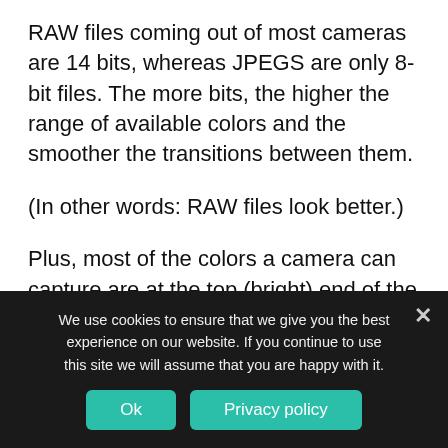RAW files coming out of most cameras are 14 bits, whereas JPEGS are only 8-bit files. The more bits, the higher the range of available colors and the smoother the transitions between them.
(In other words: RAW files look better.)
Plus, most of the colors a camera can capture are at the top (bright) end of the scale. The range of available colors at the low (dark) end of the scale is extremely limited. At night, your pictures will almost always include a large dark portion. A
We use cookies to ensure that we give you the best experience on our website. If you continue to use this site we will assume that you are happy with it.